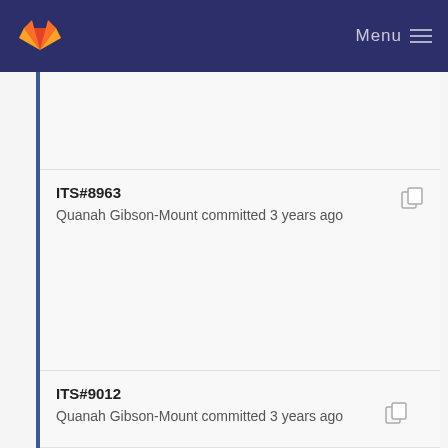Menu
ITS#8963
Quanah Gibson-Mount committed 3 years ago
ITS#9012
Quanah Gibson-Mount committed 3 years ago